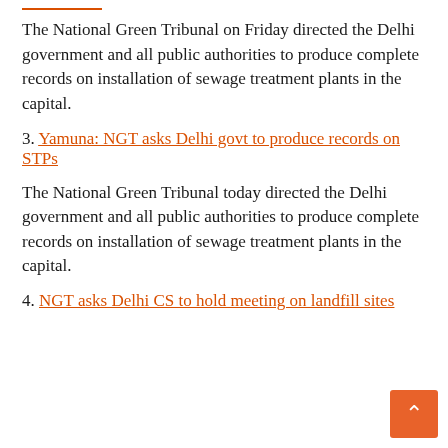The National Green Tribunal on Friday directed the Delhi government and all public authorities to produce complete records on installation of sewage treatment plants in the capital.
3. Yamuna: NGT asks Delhi govt to produce records on STPs
The National Green Tribunal today directed the Delhi government and all public authorities to produce complete records on installation of sewage treatment plants in the capital.
4. NGT asks Delhi CS to hold meeting on landfill sites